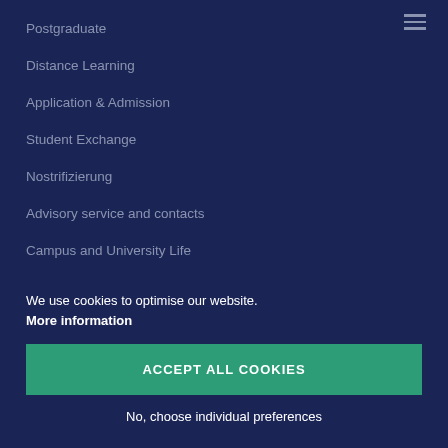Postgraduate
Distance Learning
Application & Admission
Student Exchange
Nostrifizierung
Advisory service and contacts
Campus and University Life
We use cookies to optimise our website.
More information
ACCEPT ALL COOKIES
No, choose individual preferences